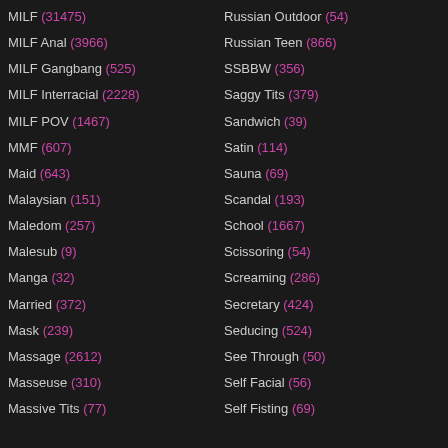MILF (31475)
MILF Anal (3966)
MILF Gangbang (525)
MILF Interracial (2228)
MILF POV (1467)
MMF (607)
Maid (643)
Malaysian (151)
Maledom (257)
Malesub (9)
Manga (32)
Married (372)
Mask (239)
Massage (2612)
Masseuse (310)
Massive Tits (77)
Russian Outdoor (54)
Russian Teen (866)
SSBBW (356)
Saggy Tits (379)
Sandwich (39)
Satin (114)
Sauna (69)
Scandal (193)
School (1667)
Scissoring (54)
Screaming (286)
Secretary (424)
Seducing (524)
See Through (50)
Self Facial (56)
Self Fisting (69)